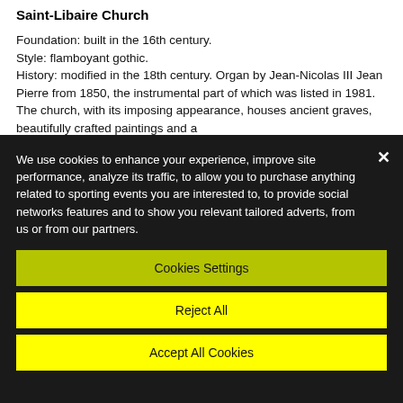Saint-Libaire Church
Foundation: built in the 16th century.
Style: flamboyant gothic.
History: modified in the 18th century. Organ by Jean-Nicolas III Jean Pierre from 1850, the instrumental part of which was listed in 1981. The church, with its imposing appearance, houses ancient graves, beautifully crafted paintings and a
We use cookies to enhance your experience, improve site performance, analyze its traffic, to allow you to purchase anything related to sporting events you are interested to, to provide social networks features and to show you relevant tailored adverts, from us or from our partners.
Cookies Settings
Reject All
Accept All Cookies